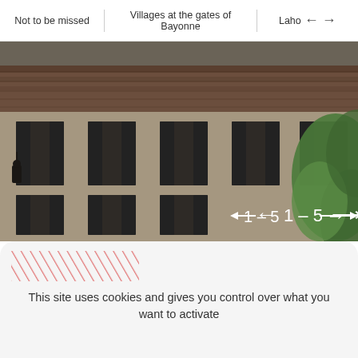Not to be missed | Villages at the gates of Bayonne | Laho ← →
[Figure (photo): Photograph of a traditional French building facade with shuttered windows and a tiled roof, with tropical foliage on the right side. A navigation counter '1 – 5' with left and right arrows overlays the bottom-right of the image.]
This site uses cookies and gives you control over what you want to activate
OK, accept all
Deny all cookies
Personalize